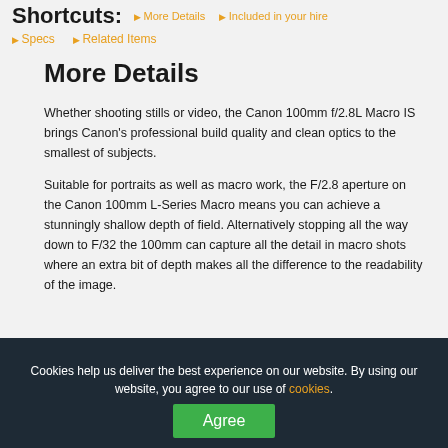Shortcuts: > More Details  > Included in your hire
> Specs
> Related Items
More Details
Whether shooting stills or video, the Canon 100mm f/2.8L Macro IS brings Canon's professional build quality and clean optics to the smallest of subjects.
Suitable for portraits as well as macro work, the F/2.8 aperture on the Canon 100mm L-Series Macro means you can achieve a stunningly shallow depth of field. Alternatively stopping all the way down to F/32 the 100mm can capture all the detail in macro shots where an extra bit of depth makes all the difference to the readability of the image.
Cookies help us deliver the best experience on our website. By using our website, you agree to our use of cookies.